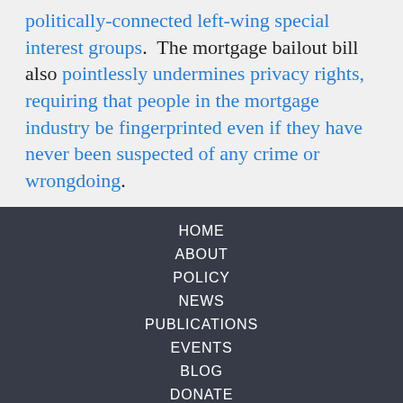politically-connected left-wing special interest groups.  The mortgage bailout bill also pointlessly undermines privacy rights, requiring that people in the mortgage industry be fingerprinted even if they have never been suspected of any crime or wrongdoing.
HOME
ABOUT
POLICY
NEWS
PUBLICATIONS
EVENTS
BLOG
DONATE